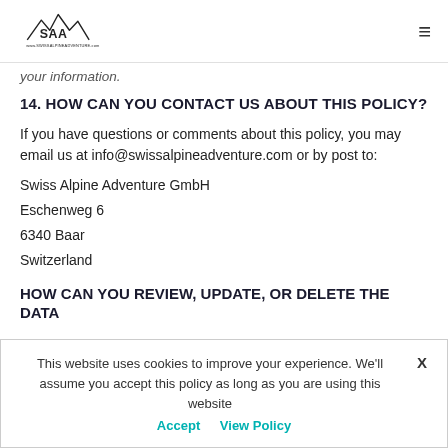Swiss Alpine Adventure logo and navigation
your information.
14. HOW CAN YOU CONTACT US ABOUT THIS POLICY?
If you have questions or comments about this policy, you may email us at info@swissalpineadventure.com or by post to:
Swiss Alpine Adventure GmbH
Eschenweg 6
6340 Baar
Switzerland
HOW CAN YOU REVIEW, UPDATE, OR DELETE THE DATA
This website uses cookies to improve your experience. We'll assume you accept this policy as long as you are using this website  Accept  View Policy